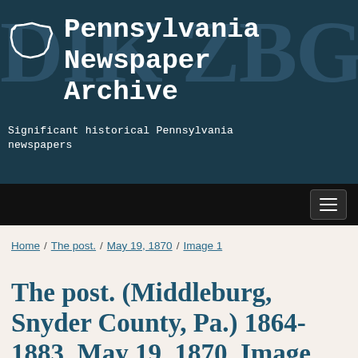[Figure (logo): Pennsylvania Newspaper Archive website screenshot header with dark blue/teal background showing large letterpress letters, Pennsylvania state outline logo, site title and subtitle]
Pennsylvania Newspaper Archive
Significant historical Pennsylvania newspapers
Home / The post. / May 19, 1870 / Image 1
The post. (Middleburg, Snyder County, Pa.) 1864-1883, May 19, 1870, Image